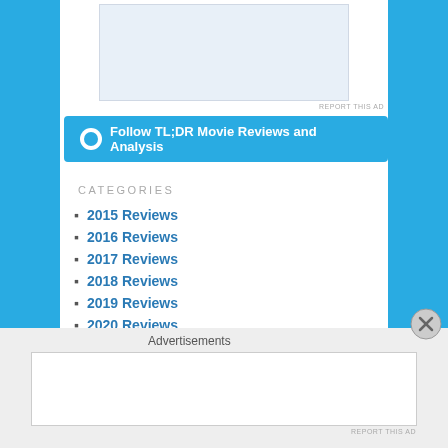[Figure (other): Ad placeholder box at top]
REPORT THIS AD
Follow TL;DR Movie Reviews and Analysis
CATEGORIES
2015 Reviews
2016 Reviews
2017 Reviews
2018 Reviews
2019 Reviews
2020 Reviews
2021 Reviews
2022 Reviews
5/5
Articles
Countdown
Advertisements
[Figure (other): Bottom advertisement placeholder box]
REPORT THIS AD